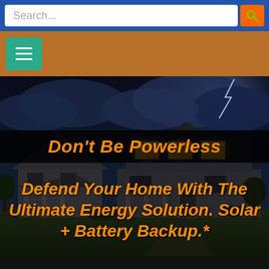Search...
[Figure (screenshot): Hamburger menu button on brown/tan navigation bar with teal background button]
[Figure (photo): Dark stormy night scene with a house lit from within, lightning in background sky]
Don't Be Powerless
Defend Your Home With The Ultimate Energy Solution. Solar + Battery Backup.*